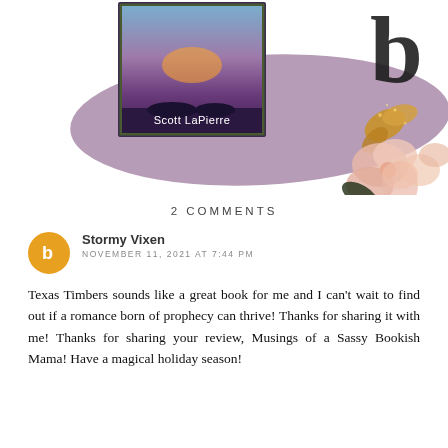[Figure (illustration): Book cover with purple/mauve brush stroke background and floral decorations at top right. Book cover shows 'Scott LaPierre' as author text on a dark purple background with sunset sky imagery. Large bold letter 'b' in top right corner with gold glitter leaf and pink floral decorations.]
2 COMMENTS
Stormy Vixen
NOVEMBER 11, 2021 AT 7:44 PM
Texas Timbers sounds like a great book for me and I can't wait to find out if a romance born of prophecy can thrive! Thanks for sharing it with me! Thanks for sharing your review, Musings of a Sassy Bookish Mama! Have a magical holiday season!